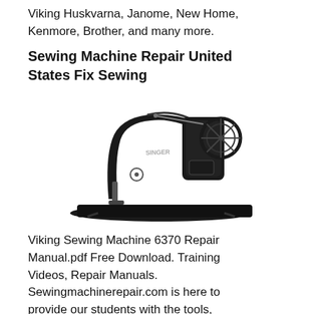Viking Huskvarna, Janome, New Home, Kenmore, Brother, and many more.
Sewing Machine Repair United States Fix Sewing
[Figure (photo): Black and white image of a vintage Singer sewing machine with treadle-style design, shown from the side.]
Viking Sewing Machine 6370 Repair Manual.pdf Free Download. Training Videos, Repair Manuals. Sewingmachinerepair.com is here to provide our students with the tools, training, and know how, to succeed in